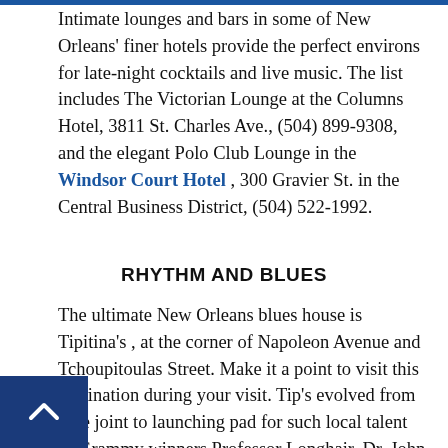Intimate lounges and bars in some of New Orleans' finer hotels provide the perfect environs for late-night cocktails and live music. The list includes The Victorian Lounge at the Columns Hotel, 3811 St. Charles Ave., (504) 899-9308, and the elegant Polo Club Lounge in the Windsor Court Hotel , 300 Gravier St. in the Central Business District, (504) 522-1992.
RHYTHM AND BLUES
The ultimate New Orleans blues house is Tipitina's , at the corner of Napoleon Avenue and Tchoupitoulas Street. Make it a point to visit this destination during your visit. Tip's evolved from juke joint to launching pad for such local talent as Grammy winners Professor Longhair, Dr. John and the Neville Brothers. Some of the music industry's greatest have performed here over the years, and the nightclub continues to be a platform for roots